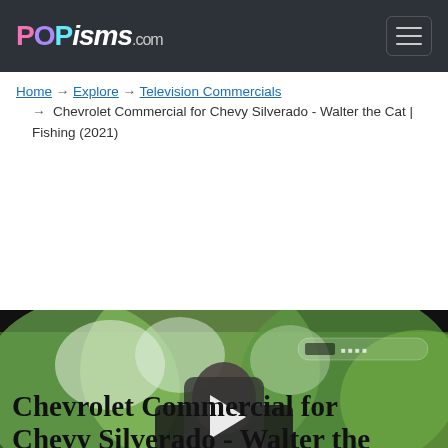POPisms.com
Home → Explore → Television Commercials → Chevrolet Commercial for Chevy Silverado - Walter the Cat | Fishing (2021)
[Figure (screenshot): Video player thumbnail showing a man standing outdoors with trees/foliage in background, with a play button overlay. Watermark badge visible in upper right corner.]
Chevrolet Commercial for Chevy Silverado - Walter the